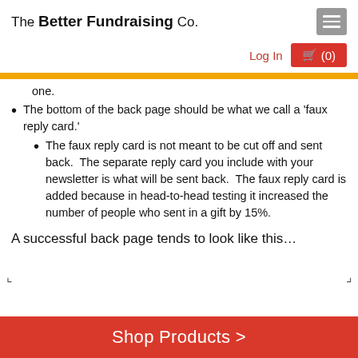The Better Fundraising Co.
one.
The bottom of the back page should be what we call a 'faux reply card.'
The faux reply card is not meant to be cut off and sent back. The separate reply card you include with your newsletter is what will be sent back. The faux reply card is added because in head-to-head testing it increased the number of people who sent in a gift by 15%.
A successful back page tends to look like this…
[Figure (other): Partial image placeholder with corner marks]
Shop Products >